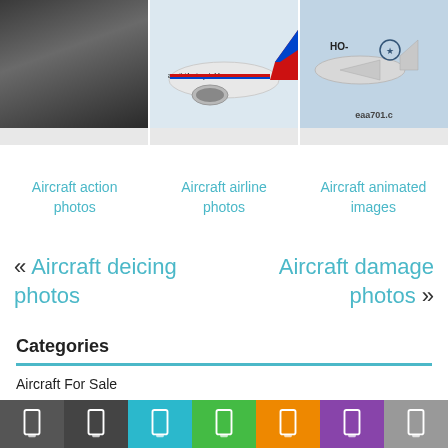[Figure (photo): Three aircraft category thumbnails: action photos (black and white), airline photos (Malaysia Airlines model), animated images (eaa701 aircraft)]
Aircraft action photos
Aircraft airline photos
Aircraft animated images
« Aircraft deicing photos
Aircraft damage photos »
Categories
Aircraft For Sale
Aircrafts Photo and Images